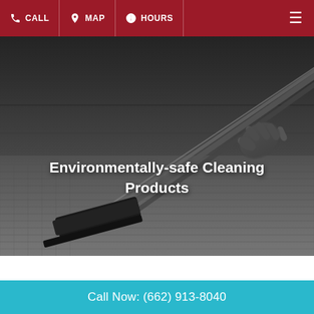CALL  MAP  HOURS
[Figure (photo): Black and white photo of a person using a carpet cleaning vacuum tool on a dark carpet, hand visible gripping the handle, dark sofa in background]
Environmentally-safe Cleaning Products
Call Now: (662) 913-8040